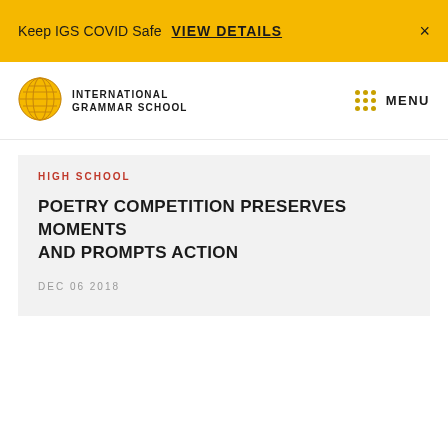Keep IGS COVID Safe VIEW DETAILS ×
[Figure (logo): International Grammar School globe logo with horizontal lines]
INTERNATIONAL GRAMMAR SCHOOL
MENU
HIGH SCHOOL
POETRY COMPETITION PRESERVES MOMENTS AND PROMPTS ACTION
DEC 06 2018